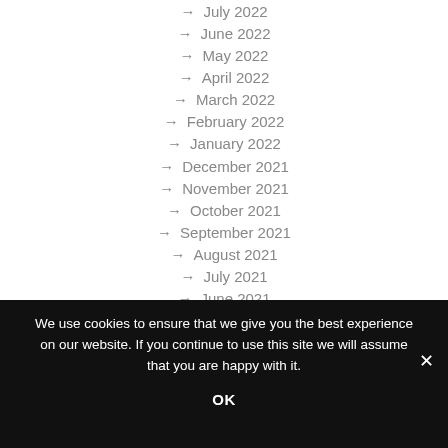→ July 2022
→ June 2022
→ May 2022
→ April 2022
→ March 2022
→ February 2022
→ January 2022
→ December 2021
→ November 2021
→ October 2021
→ September 2021
→ August 2021
→ July 2021
→ June 2021
We use cookies to ensure that we give you the best experience on our website. If you continue to use this site we will assume that you are happy with it.
OK